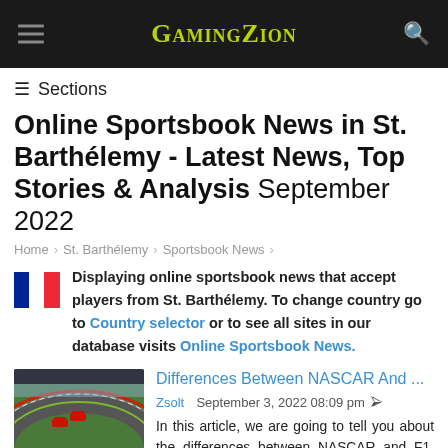GamingZion
≡ Sections
Online Sportsbook News in St. Barthélemy - Latest News, Top Stories & Analysis September 2022
Home > St. Barthélemy > Sportsbook News >
Displaying online sportsbook news that accept players from St. Barthélemy. To change country go to Country selector or to see all sites in our database visits Online Sportsbook News.
[Figure (photo): Racing cars on a circuit track, aerial view]
Differences Between NASCAR And ...
Zsolt  September 3, 2022 08:09 pm
In this article, we are going to tell you about the differences between NASCAR and F1. Therefore, if you are new to betting on car racing events. Then this